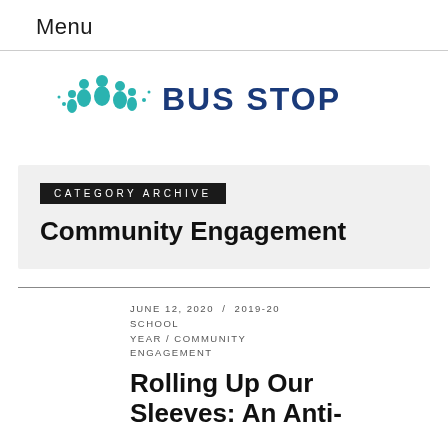Menu
[Figure (logo): Bus Stop organization logo with teal/blue icons of people and text reading BUS STOP]
CATEGORY ARCHIVE
Community Engagement
JUNE 12, 2020 / 2019-20 SCHOOL YEAR / COMMUNITY ENGAGEMENT
Rolling Up Our Sleeves: An Anti-